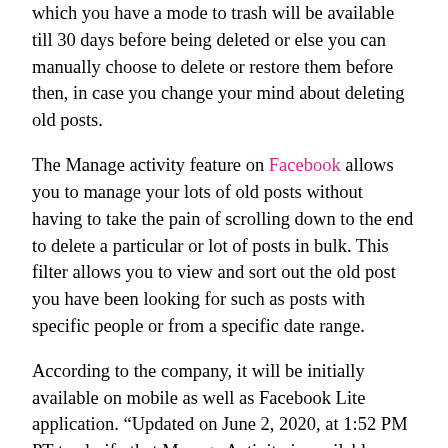which you have a mode to trash will be available till 30 days before being deleted or else you can manually choose to delete or restore them before then, in case you change your mind about deleting old posts.
The Manage activity feature on Facebook allows you to manage your lots of old posts without having to take the pain of scrolling down to the end to delete a particular or lot of posts in bulk. This filter allows you to view and sort out the old post you have been looking for such as posts with specific people or from a specific date range.
According to the company, it will be initially available on mobile as well as Facebook Lite application. "Updated on June 2, 2020, at 1:52 PM PT to clarify that Manage Activity is available on Facebook Lite